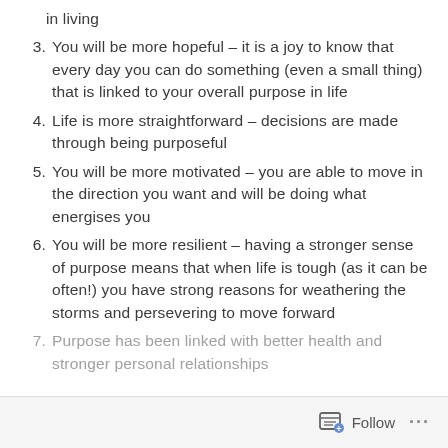in living
3. You will be more hopeful – it is a joy to know that every day you can do something (even a small thing) that is linked to your overall purpose in life
4. Life is more straightforward – decisions are made through being purposeful
5. You will be more motivated – you are able to move in the direction you want and will be doing what energises you
6. You will be more resilient – having a stronger sense of purpose means that when life is tough (as it can be often!) you have strong reasons for weathering the storms and persevering to move forward
7. Purpose has been linked with better health and stronger personal relationships
Follow